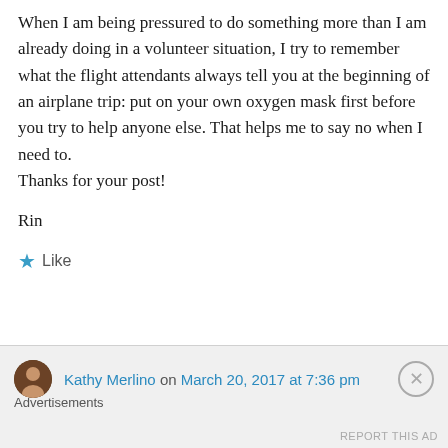When I am being pressured to do something more than I am already doing in a volunteer situation, I try to remember what the flight attendants always tell you at the beginning of an airplane trip: put on your own oxygen mask first before you try to help anyone else. That helps me to say no when I need to.
Thanks for your post!

Rin
★ Like
Kathy Merlino on March 20, 2017 at 7:36 pm
Advertisements
REPORT THIS AD